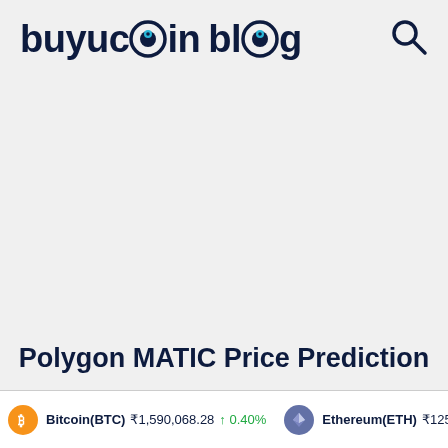buyucoin blog
Polygon MATIC Price Prediction
Bitcoin(BTC) ₹1,590,068.28 ↑ 0.40%   Ethereum(ETH) ₹125,...